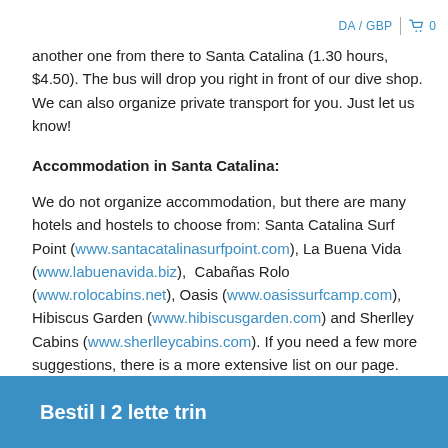DA / GBP  0
another one from there to Santa Catalina (1.30 hours, $4.50). The bus will drop you right in front of our dive shop. We can also organize private transport for you. Just let us know!
Accommodation in Santa Catalina:
We do not organize accommodation, but there are many hotels and hostels to choose from: Santa Catalina Surf Point (www.santacatalinasurfpoint.com), La Buena Vida (www.labuenavida.biz), Cabañas Rolo (www.rolocabins.net), Oasis (www.oasissurfcamp.com), Hibiscus Garden (www.hibiscusgarden.com) and Sherlley Cabins (www.sherlleycabins.com). If you need a few more suggestions, there is a more extensive list on our page.
Bestil I 2 lette trin